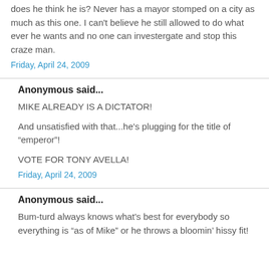does he think he is? Never has a mayor stomped on a city as much as this one. I can't believe he still allowed to do what ever he wants and no one can investergate and stop this craze man.
Friday, April 24, 2009
Anonymous said...
MIKE ALREADY IS A DICTATOR!
And unsatisfied with that...he's plugging for the title of "emperor"!
VOTE FOR TONY AVELLA!
Friday, April 24, 2009
Anonymous said...
Bum-turd always knows what's best for everybody so everything is "as of Mike" or he throws a bloomin' hissy fit!